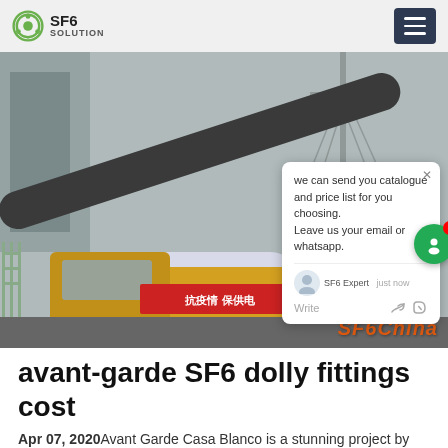SF6 SOLUTION
[Figure (photo): Yellow truck with industrial SF6 equipment, gas tubes, and electrical tower in background. Red banner text in Chinese. SF6China watermark in orange at bottom right. Chat popup overlay visible on right side.]
avant-garde SF6 dolly fittings cost
Apr 07, 2020Avant Garde Casa Blanco is a stunning project by Avant Garde Estates situated in